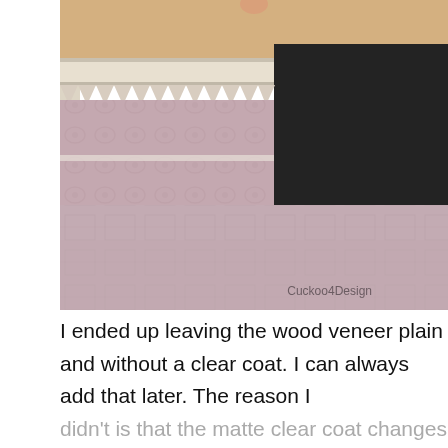[Figure (photo): Close-up photo showing wood veneer samples and a matte black painted surface comparison. The left side shows light-colored wood veneer with zigzag/saw-tooth edge detail and pinkish/mauve patterned fabric or rug below. The right side shows a large dark matte black rectangular panel. A finger is visible at the top center. Watermark 'Cuckoo4Design' is in the bottom right corner.]
I ended up leaving the wood veneer plain and without a clear coat. I can always add that later. The reason I didn't is that the matte clear coat changes the color of the wood tremendously and I liked the color as the...